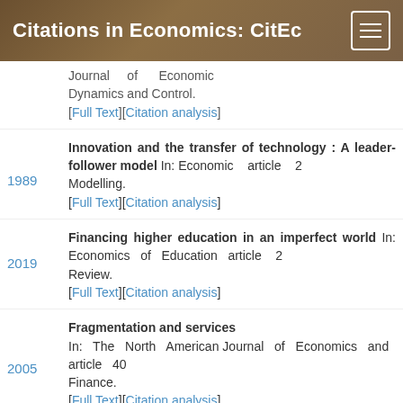Citations in Economics: CitEc
Journal of Economic Dynamics and Control. [Full Text][Citation analysis]
1989 — Innovation and the transfer of technology : A leader-follower model In: Economic Modelling. article 2 [Full Text][Citation analysis]
2019 — Financing higher education in an imperfect world In: Economics of Education Review. article 2 [Full Text][Citation analysis]
2005 — Fragmentation and services In: The North American Journal of Economics and Finance. article 40 [Full Text][Citation analysis]
Another Subsequent...